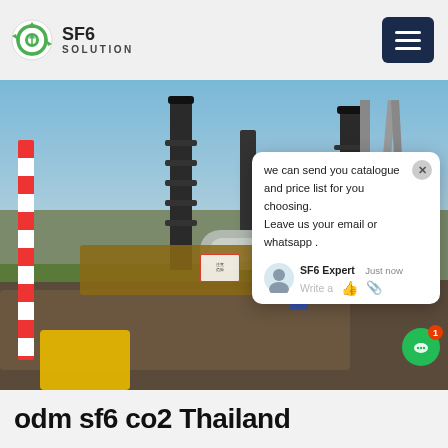[Figure (logo): SF6 Solution logo with green circular recycling-style icon and bold text SF6 SOLUTION]
[Figure (photo): Industrial electrical substation with large insulators, metal structures, pipes, worker in blue visible, construction site foreground with gravel and yellow machinery. Chat popup overlay visible on right side.]
odm sf6 co2 Thailand